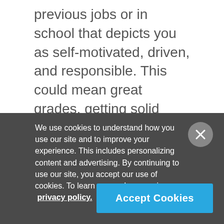previous jobs or in school that depicts you as self-motivated, driven, and responsible. This could mean great grades, getting solid feedback from professors or employers, or even a moment in time where you truly excelled and the results speak for themselves. Whatever the case, be sure to emphasize your achievements!

For those with some or significant experience as a
We use cookies to understand how you use our site and to improve your experience. This includes personalizing content and advertising. By continuing to use our site, you accept our use of cookies. To learn more, please review our privacy policy.